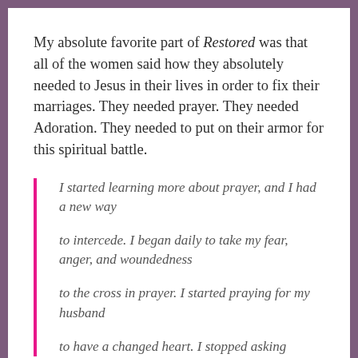My absolute favorite part of Restored was that all of the women said how they absolutely needed to Jesus in their lives in order to fix their marriages. They needed prayer. They needed Adoration. They needed to put on their armor for this spiritual battle.
I started learning more about prayer, and I had a new way

to intercede. I began daily to take my fear, anger, and woundedness

to the cross in prayer. I started praying for my husband

to have a changed heart. I stopped asking